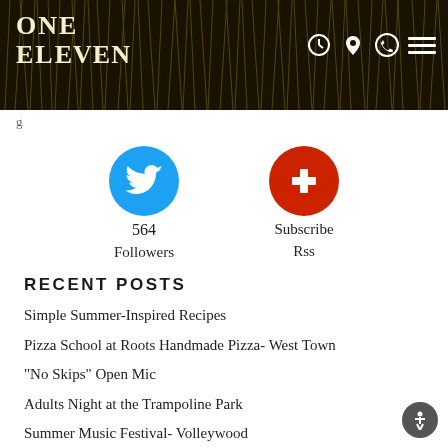[Figure (logo): ONE ELEVEN restaurant logo on dark textured background with navigation icons (clock, location pin, phone, hamburger menu)]
g
[Figure (infographic): Twitter bird icon (blue circle) showing 564 Followers, and RSS Subscribe icon (red circle with plus sign)]
RECENT POSTS
Simple Summer-Inspired Recipes
Pizza School at Roots Handmade Pizza- West Town
“No Skips” Open Mic
Adults Night at the Trampoline Park
Summer Music Festival- Volleywood
ARCHIVES